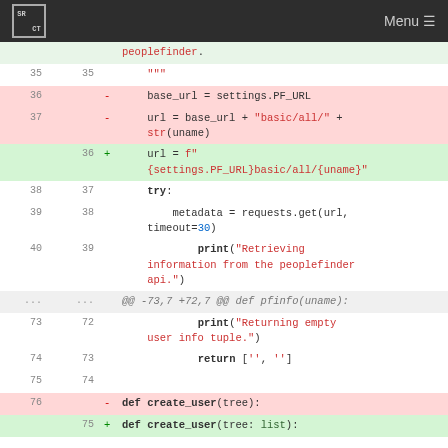SRCT | Menu
[Figure (screenshot): Code diff view showing Python source code changes. Lines 35-76 old and 35-75 new are shown. Changes include replacing two-line url construction with an f-string, and changing def create_user(tree): to def create_user(tree: list):.]